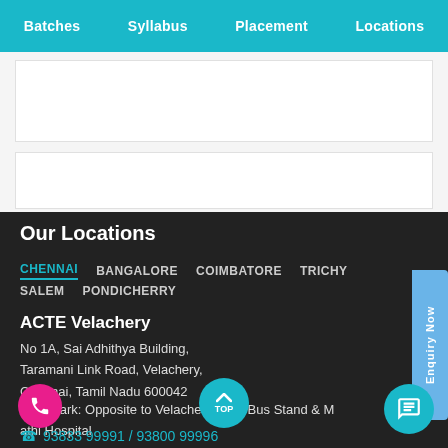Batches  Syllabus  Placement  Locations
Our Locations
CHENNAI  BANGALORE  COIMBATORE  TRICHY  SALEM  PONDICHERRY
ACTE Velachery
No 1A, Sai Adhithya Building, Taramani Link Road, Velachery, Chennai, Tamil Nadu 600042
Landmark: Opposite to Velachery Main Bus Stand & Matha Hospital
93833 99991 / 93800 99996